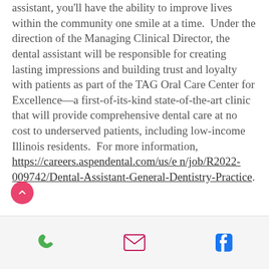assistant, you'll have the ability to improve lives within the community one smile at a time.  Under the direction of the Managing Clinical Director, the dental assistant will be responsible for creating lasting impressions and building trust and loyalty with patients as part of the TAG Oral Care Center for Excellence—a first-of-its-kind state-of-the-art clinic that will provide comprehensive dental care at no cost to underserved patients, including low-income Illinois residents.  For more information, https://careers.aspendental.com/us/e n/job/R2022-009742/Dental-Assistant-General-Dentistry-Practice.
[Figure (other): Mobile app footer bar with phone icon (green), email envelope icon (pink/magenta), and Facebook icon (blue)]